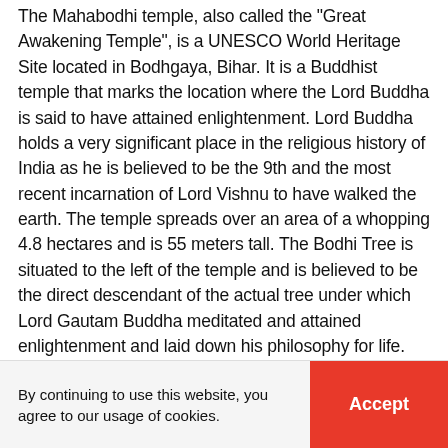The Mahabodhi temple, also called the "Great Awakening Temple", is a UNESCO World Heritage Site located in Bodhgaya, Bihar. It is a Buddhist temple that marks the location where the Lord Buddha is said to have attained enlightenment. Lord Buddha holds a very significant place in the religious history of India as he is believed to be the 9th and the most recent incarnation of Lord Vishnu to have walked the earth. The temple spreads over an area of a whopping 4.8 hectares and is 55 meters tall. The Bodhi Tree is situated to the left of the temple and is believed to be the direct descendant of the actual tree under which Lord Gautam Buddha meditated and attained enlightenment and laid down his philosophy for life. The original temple was built by Emperor Ashoka after he turned to Buddhism in order to seek peace and solitude from war and conquests.
By continuing to use this website, you agree to our usage of cookies.